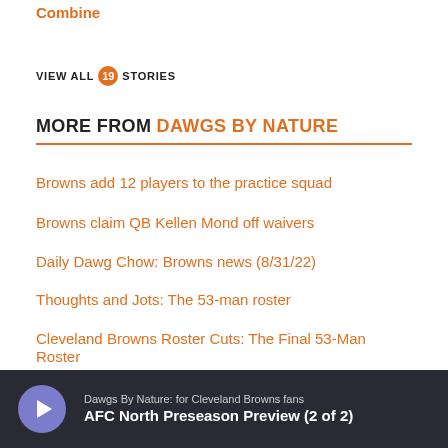Combine
VIEW ALL 19 STORIES
MORE FROM DAWGS BY NATURE
Browns add 12 players to the practice squad
Browns claim QB Kellen Mond off waivers
Daily Dawg Chow: Browns news (8/31/22)
Thoughts and Jots: The 53-man roster
Cleveland Browns Roster Cuts: The Final 53-Man Roster
Cleveland Browns 53-man roster tracker
5 situations where you may be getting scammed
Advertiser Content From Zelle
[Figure (other): Podcast bar: Dawgs By Nature: for Cleveland Browns fans - AFC North Preseason Preview (2 of 2) with play button]